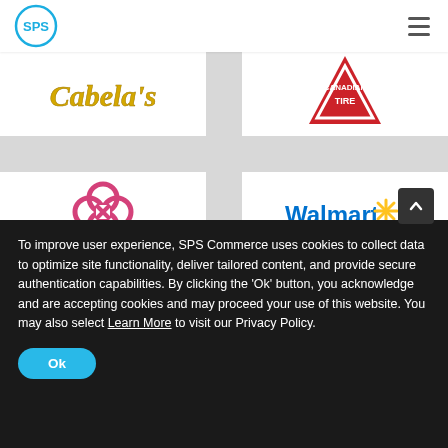[Figure (logo): SPS Commerce logo in header]
[Figure (logo): Hamburger menu icon]
[Figure (logo): Cabela's logo — gold italic script text]
[Figure (logo): Canadian Tire logo — red triangle with white text]
[Figure (logo): Abstract pink clover/flower logo (Loblaws or similar)]
[Figure (logo): Walmart logo with yellow spark icon]
To improve user experience, SPS Commerce uses cookies to collect data to optimize site functionality, deliver tailored content, and provide secure authentication capabilities. By clicking the ‘Ok’ button, you acknowledge and are accepting cookies and may proceed your use of this website. You may also select Learn More to visit our Privacy Policy.
Ok